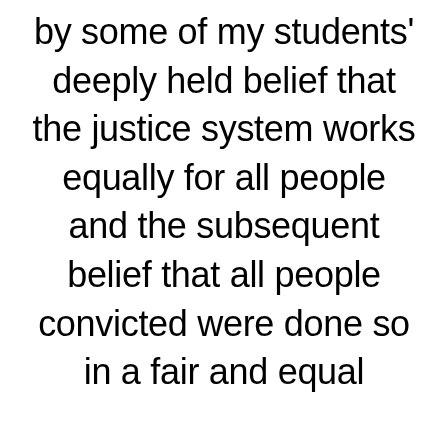by some of my students' deeply held belief that the justice system works equally for all people and the subsequent belief that all people convicted were done so in a fair and equal